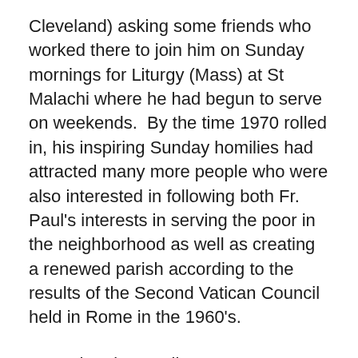Cleveland) asking some friends who worked there to join him on Sunday mornings for Liturgy (Mass) at St Malachi where he had begun to serve on weekends.  By the time 1970 rolled in, his inspiring Sunday homilies had attracted many more people who were also interested in following both Fr. Paul's interests in serving the poor in the neighborhood as well as creating a renewed parish according to the results of the Second Vatican Council held in Rome in the 1960's.
From that time until 1975, many worked to establish a parish with greater lay leadership, more vibrant liturgical practice, and a  greater presence in the area surrounding the church with the establishment of a Monday Night Meal (still offering a hot meal on Monday evening to this day) and other ecumenical and social justice programs.  In 1975 that group was given the official name of the